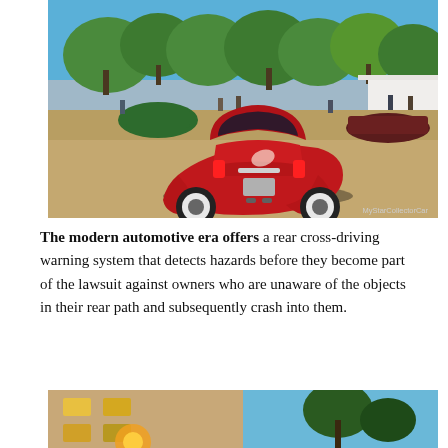[Figure (photo): Rear view of a red classic custom car at an outdoor car show, with trees in the background and other vintage cars and spectators visible. Photo credit: MyStarCollectorCar]
The modern automotive era offers a rear cross-driving warning system that detects hazards before they become part of the lawsuit against owners who are unaware of the objects in their rear path and subsequently crash into them.
[Figure (photo): Bottom portion of a second photo showing a building with lit windows on the left and trees against a blue sky on the right, partially cut off.]